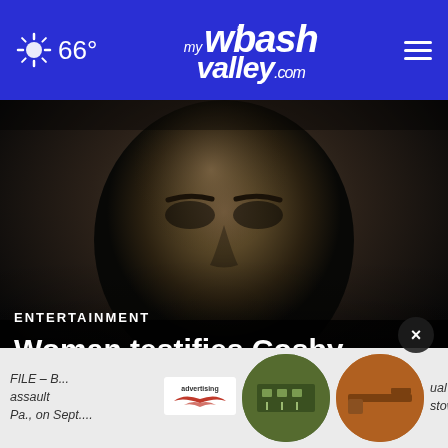66° myWabashValley.com
[Figure (photo): Close-up dark photo of an older man's face looking forward, dark background]
ENTERTAINMENT
Woman testifies Cosby forcibly kissed her when she was 14
FILE – B... assault ... Pa., on Sept....  ual ... stown
[Figure (photo): Advertisement with logo and product images in circular frames]